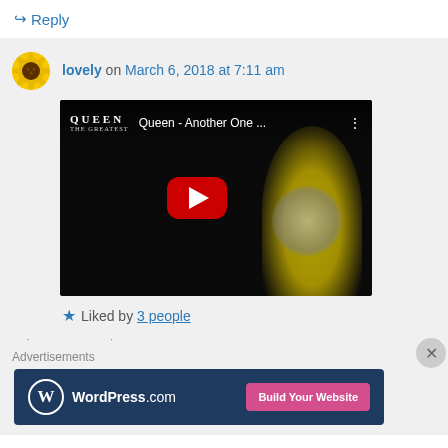↪ Reply
lovely on March 6, 2018 at 7:11 am
[Figure (screenshot): YouTube video thumbnail for 'Queen - Another One ...' showing a performer in yellow with a YouTube play button overlay]
★ Liked by 3 people
Advertisements
[Figure (infographic): WordPress.com advertisement banner with logo and 'Build Your Website' button]